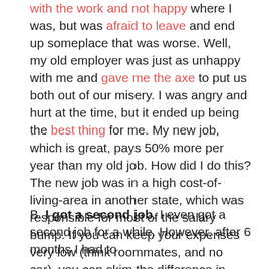with the work and not happy where I was, but was afraid to leave and end up someplace that was worse. Well, my old employer was just as unhappy with me and gave me the axe to put us both out of our misery. I was angry and hurt at the time, but it ended up being the best thing for me. My new job, which is great, pays 50% more per year than my old job. How did I do this? The new job was in a high cost-of-living-area in another state, which was responsible for most of the salary bump. If you can keep your expenses very low (think roommates, and no car), you can skim the difference in salary to put towards your debt.
B. I got a second job. I even got a second job for a while. However, after 6 months I had to